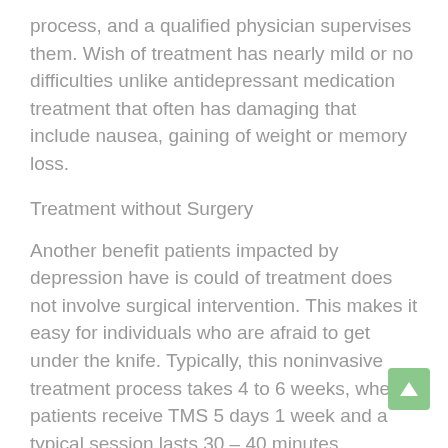process, and a qualified physician supervises them. Wish of treatment has nearly mild or no difficulties unlike antidepressant medication treatment that often has damaging that include nausea, gaining of weight or memory loss.
Treatment without Surgery
Another benefit patients impacted by depression have is could of treatment does not involve surgical intervention. This makes it easy for individuals who are afraid to get under the knife. Typically, this noninvasive treatment process takes 4 to 6 weeks, where patients receive TMS 5 days 1 week and a typical session lasts 30 – 40 minutes.
Although it takes almost a month to complete the course, patients would start feeling better after every night. Furthermore, it means that slowly and gradually the process would start and discover witness the enhancement.